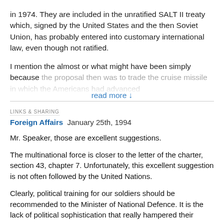in 1974. They are included in the unratified SALT II treaty which, signed by the United States and the then Soviet Union, has probably entered into customary international law, even though not ratified.
I mention the almost or what might have been simply because the proposal then was to trade the cruise missile in which the Americans had advanced... against the Soviet
read more ↓
LINKS & SHARING
Foreign Affairs  January 25th, 1994
Mr. Speaker, those are excellent suggestions.
The multinational force is closer to the letter of the charter, section 43, chapter 7. Unfortunately, this excellent suggestion is not often followed by the United Nations.
Clearly, political training for our soldiers should be recommended to the Minister of National Defence. It is the lack of political sophistication that really hampered their